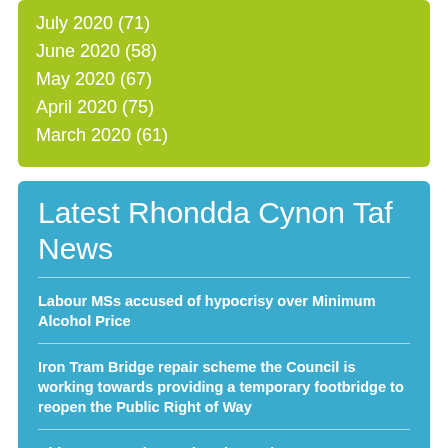July 2020 (71)
June 2020 (58)
May 2020 (67)
April 2020 (75)
March 2020 (61)
Latest Rhondda Cynon Taf News
Labour MSs accused of hypocrisy over Minimum Alcohol Price
Iron Tram Bridge repair scheme the Council is working towards providing a temporary footbridge to reopen the Public Right of Way
Rhigos Mountain Road Update 19/08
Council chiefs call for tougher punishments for fly-tippers. But this approach is not followed by...